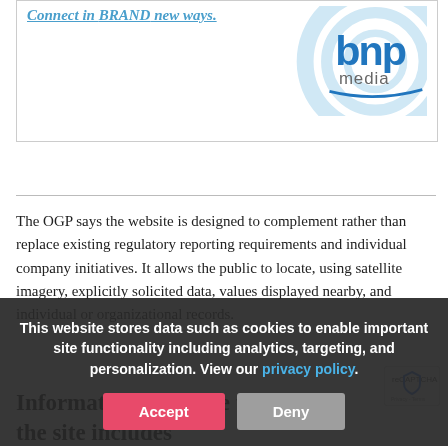[Figure (logo): BNP Media logo with watermark circle background. Text reads 'Connect in BRAND new ways.' above the logo. The logo shows 'bnp media' in blue and grey with a swoosh underline.]
The OGP says the website is designed to complement rather than replace existing regulatory reporting requirements and individual company initiatives. It allows the public to locate, using satellite imagery, explicitly solicited data, values displayed nearby, and individual or organizational records.
This website stores data such as cookies to enable important site functionality including analytics, targeting, and personalization. View our privacy policy.
Information available throug the site includes